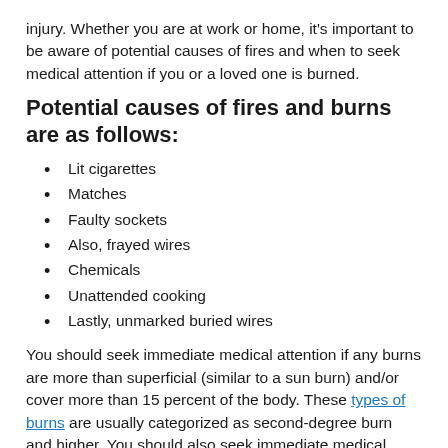injury. Whether you are at work or home, it's important to be aware of potential causes of fires and when to seek medical attention if you or a loved one is burned.
Potential causes of fires and burns are as follows:
Lit cigarettes
Matches
Faulty sockets
Also, frayed wires
Chemicals
Unattended cooking
Lastly, unmarked buried wires
You should seek immediate medical attention if any burns are more than superficial (similar to a sun burn) and/or cover more than 15 percent of the body. These types of burns are usually categorized as second-degree burn and higher. You should also seek immediate medical attention for all chemical burns. Not doing so can result in infections